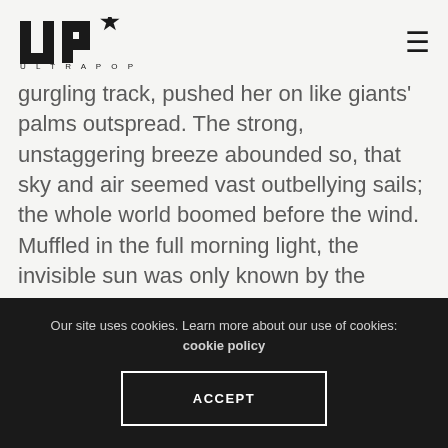UP* ULTRAPOP
gurgling track, pushed her on like giants' palms outspread. The strong, unstaggering breeze abounded so, that sky and air seemed vast outbellying sails; the whole world boomed before the wind. Muffled in the full morning light, the invisible sun was only known by the spread intensity of his place; where his bayonet rays moved on in stacks. Emblazonings, as of crowned Babylonian kings and queens, reigned over everything. The sea was as a crucible of molten gold, that bubblingly leaps with light and heat.
Our site uses cookies. Learn more about our use of cookies: cookie policy
ACCEPT